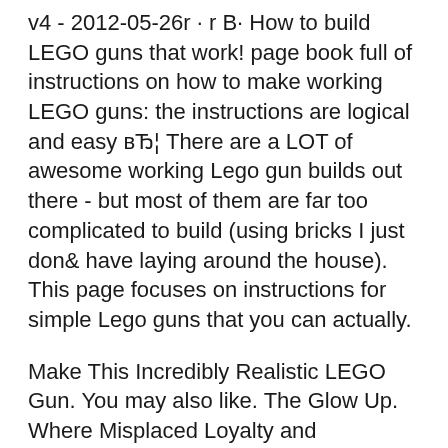v4 - 2012-05-26r · r B· How to build LEGO guns that work! page book full of instructions on how to make working LEGO guns: the instructions are logical and easy вЂ¦ There are a LOT of awesome working Lego gun builds out there - but most of them are far too complicated to build (using bricks I just don& have laying around the house). This page focuses on instructions for simple Lego guns that you can actually.
Make This Incredibly Realistic LEGO Gun. You may also like. The Glow Up. Where Misplaced Loyalty and Misogynoir Collide: On Snoop, Cosby, and Why Protecting Black Women Always Seems the Last There are a LOT of awesome working Lego gun builds out there - but most of them are far too complicated to build (using